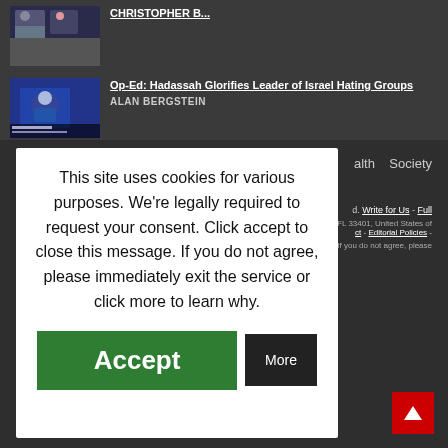CHRISTOPHER B...
Op-Ed: Hadassah Glorifies Leader of Israel Hating Groups
ALAN BERGSTEIN
This site uses cookies for various purposes. We're legally required to request your consent. Click accept to close this message. If you do not agree, please immediately exit the service or click more to learn why.
Accept
More
alth   Society
Write for Us - Full
FL 33401, United States of
ct - Editorial Policies -
If you do not agree, please